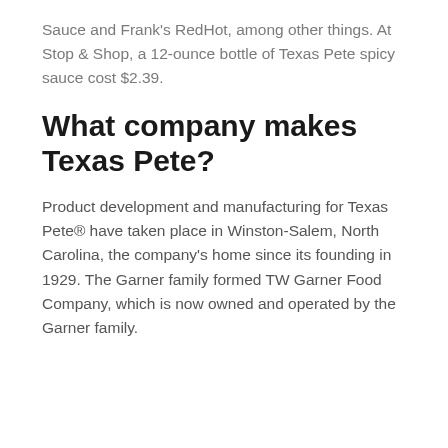Sauce and Frank's RedHot, among other things. At Stop & Shop, a 12-ounce bottle of Texas Pete spicy sauce cost $2.39.
What company makes Texas Pete?
Product development and manufacturing for Texas Pete® have taken place in Winston-Salem, North Carolina, the company's home since its founding in 1929. The Garner family formed TW Garner Food Company, which is now owned and operated by the Garner family.